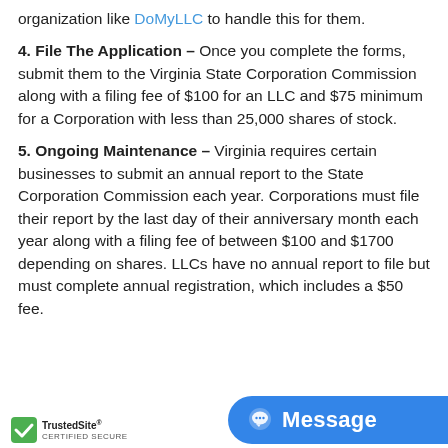organization like DoMyLLC to handle this for them.
4. File The Application – Once you complete the forms, submit them to the Virginia State Corporation Commission along with a filing fee of $100 for an LLC and $75 minimum for a Corporation with less than 25,000 shares of stock.
5. Ongoing Maintenance – Virginia requires certain businesses to submit an annual report to the State Corporation Commission each year. Corporations must file their report by the last day of their anniversary month each year along with a filing fee of between $100 and $1700 depending on shares. LLCs have no annual report to file but must complete annual registration, which includes a $50 fee.
[Figure (logo): TrustedSite Certified Secure badge]
[Figure (screenshot): Blue Message button widget]